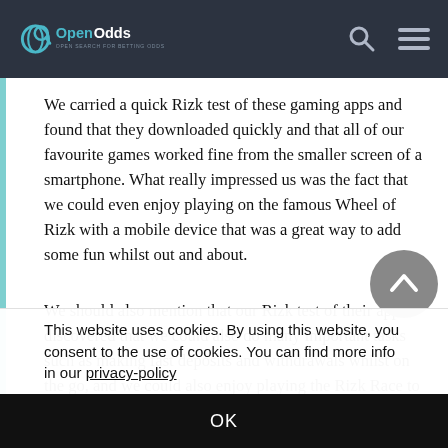OpenOdds
We carried a quick Rizk test of these gaming apps and found that they downloaded quickly and that all of our favourite games worked fine from the smaller screen of a smartphone. What really impressed us was the fact that we could even enjoy playing on the famous Wheel of Rizk with a mobile device that was a great way to add some fun whilst out and about.
We should also mention that our Rizk test of their app discovered that we could also do many important tasks such as making fast deposits and withdrawals whilst on the go, and we could also enjoy playing the Rizk Race to try and take a share of the huge prize pool. So that whether you are using a laptop, tablet or smartphone, your choice of device
This website uses cookies. By using this website, you consent to the use of cookies. You can find more info in our privacy-policy
OK